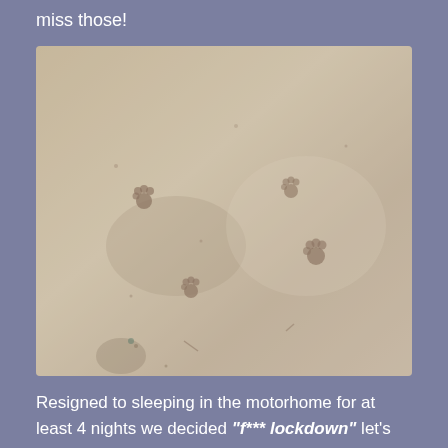miss those!
[Figure (photo): A sandy/dusty ground surface with small animal paw prints scattered across it. The surface has a mottled beige and light grey texture.]
Resigned to sleeping in the motorhome for at least 4 nights we decided "f*** lockdown" let's go on holiday!!! So, we hopped into Marsha and